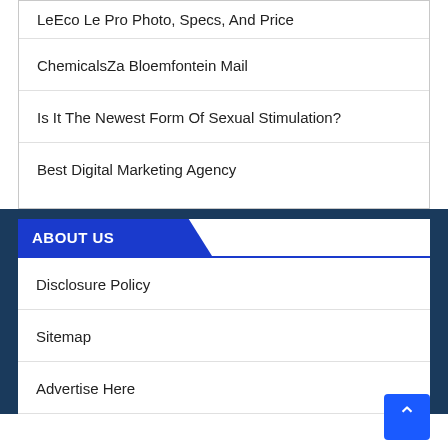LeEco Le Pro Photo, Specs, And Price
ChemicalsZa Bloemfontein Mail
Is It The Newest Form Of Sexual Stimulation?
Best Digital Marketing Agency
ABOUT US
Disclosure Policy
Sitemap
Advertise Here